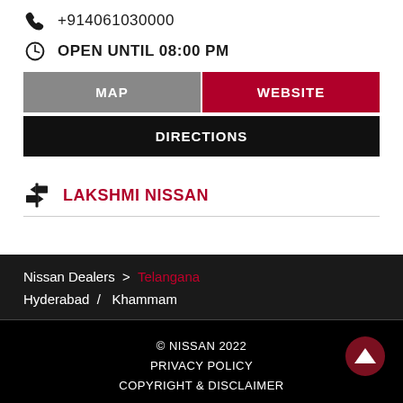+914061030000
OPEN UNTIL 08:00 PM
MAP
WEBSITE
DIRECTIONS
LAKSHMI NISSAN
Nissan Dealers > Telangana
Hyderabad / Khammam
© NISSAN 2022
PRIVACY POLICY
COPYRIGHT & DISCLAIMER

Powered by : SingleInterface